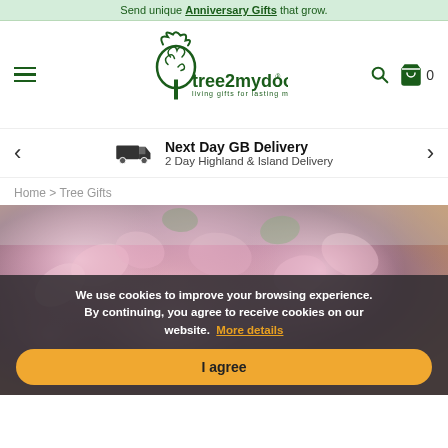Send unique Anniversary Gifts that grow.
[Figure (logo): tree2mydoor.com logo — dark green tree icon with text 'tree2mydoor.com' and tagline 'living gifts for lasting memories']
Next Day GB Delivery
2 Day Highland & Island Delivery
Home > Tree Gifts
[Figure (photo): Close-up photo of pink cherry blossom flowers with green foliage and blurred orange/brown background]
We use cookies to improve your browsing experience. By continuing, you agree to receive cookies on our website. More details
I agree